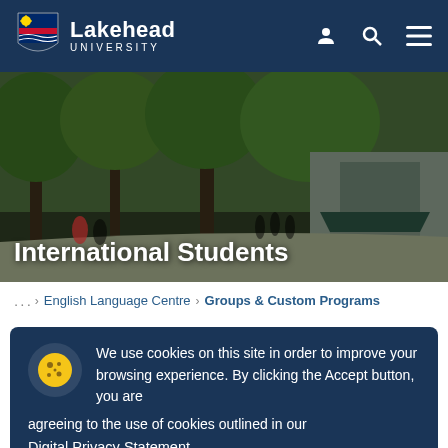Lakehead University
[Figure (photo): Outdoor campus scene with trees and building entrance; students walking on path]
International Students
... > English Language Centre > Groups & Custom Programs
We use cookies on this site in order to improve your browsing experience. By clicking the Accept button, you are agreeing to the use of cookies outlined in our Digital Privacy Statement